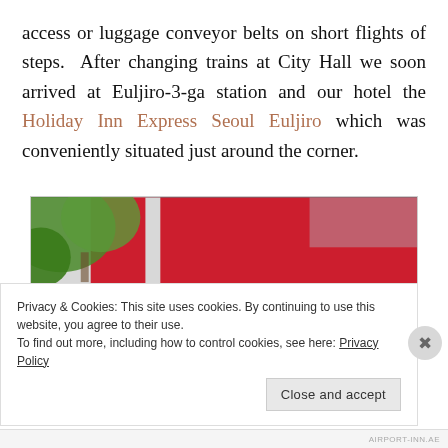access or luggage conveyor belts on short flights of steps. After changing trains at City Hall we soon arrived at Euljiro-3-ga station and our hotel the Holiday Inn Express Seoul Euljiro which was conveniently situated just around the corner.
[Figure (photo): Exterior photo of Holiday Inn Express Seoul Euljiro hotel building with red facade and green Holiday Inn Express signage visible]
Privacy & Cookies: This site uses cookies. By continuing to use this website, you agree to their use.
To find out more, including how to control cookies, see here: Privacy Policy
Close and accept
AIRPORT-INN.AE